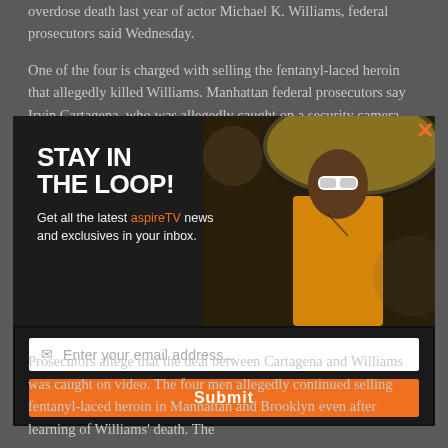overdose death last year of actor Michael K. Williams, federal prosecutors said Wednesday.
One of the four is charged with selling the fentanyl-laced heroin that allegedly killed Williams. Manhattan federal prosecutors say Irvin Cartagena, who was allegedly caught on a security camera selling Williams the drugs, was arrested in Puerto Rico.
[Figure (screenshot): Modal popup advertisement for aspireTV newsletter signup. Shows 'STAY IN THE LOOP!' headline with text 'Get all the latest aspireTV news and exclusives in your inbox.' alongside a photo of a stylish woman in a yellow dress and wide-brimmed hat with sunglasses. Below is an email input field with placeholder 'Enter your email address...' and an orange Submit button. Close button (X) in orange in top right corner.]
Prosecutors allege that the deal between Cartagena and Williams was caught on video. The four men allegedly continued selling fentanyl-laced heroin in Manhattan and Brooklyn even after learning of Williams' death. The